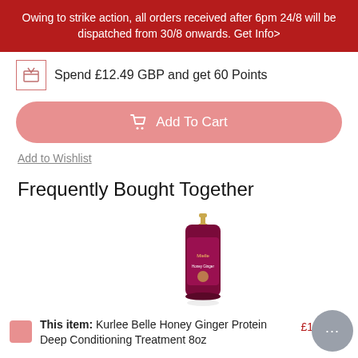Owing to strike action, all orders received after 6pm 24/8 will be dispatched from 30/8 onwards. Get Info>
Spend £12.49 GBP and get 60 Points
Add To Cart
Add to Wishlist
Frequently Bought Together
[Figure (photo): Product bottle: Kurlee Belle hair product in a dark pink/maroon bottle with gold pump top]
This item: Kurlee Belle Honey Ginger Protein Deep Conditioning Treatment 8oz
£12. .99